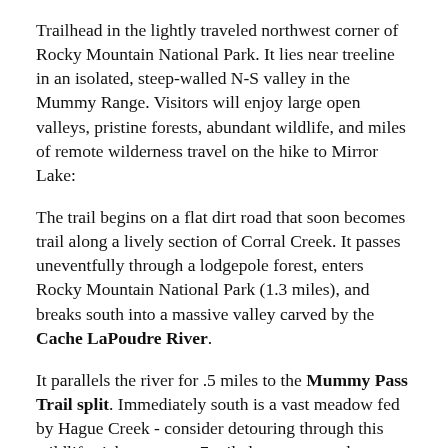Trailhead in the lightly traveled northwest corner of Rocky Mountain National Park. It lies near treeline in an isolated, steep-walled N-S valley in the Mummy Range. Visitors will enjoy large open valleys, pristine forests, abundant wildlife, and miles of remote wilderness travel on the hike to Mirror Lake:
The trail begins on a flat dirt road that soon becomes trail along a lively section of Corral Creek. It passes uneventfully through a lodgepole forest, enters Rocky Mountain National Park (1.3 miles), and breaks south into a massive valley carved by the Cache LaPoudre River.
It parallels the river for .5 miles to the Mummy Pass Trail split. Immediately south is a vast meadow fed by Hague Creek - consider detouring through this wildlife-rich area on a .7 mile long spur used to access the Hague Creek, Desolation and Flatiron backcountry campsites.
The Mummy Pass Trail climbs steadily for .75 miles in a spruce-fir forest accented by fallen timber and thick ground cover. It moderates for .5 miles, then pushes once more up a forest climb to the Mirror Lake Trailsplit (4.2 miles...